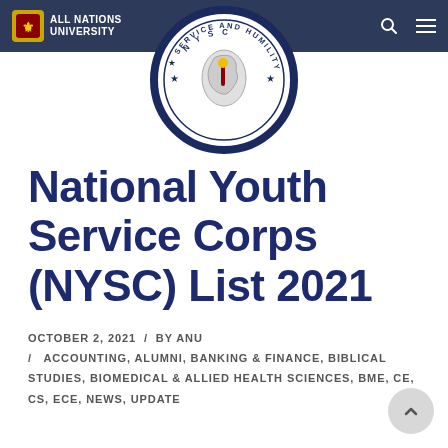ALL NATIONS UNIVERSITY
[Figure (logo): NYSC circular logo with text SERVICE AND HUMILITY around the border]
National Youth Service Corps (NYSC) List 2021
OCTOBER 2, 2021 / BY ANU / ACCOUNTING, ALUMNI, BANKING & FINANCE, BIBLICAL STUDIES, BIOMEDICAL & ALLIED HEALTH SCIENCES, BME, CE, CS, ECE, NEWS, UPDATE